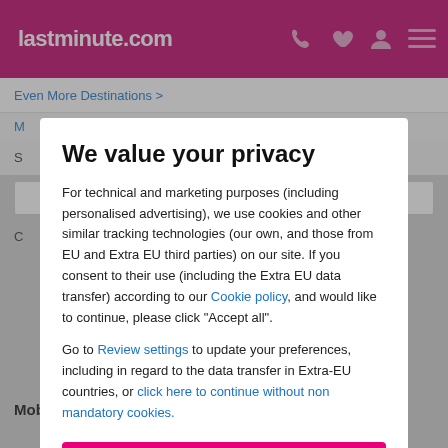lastminute.com
Even More Destinations >
M
We value your privacy
For technical and marketing purposes (including personalised advertising), we use cookies and other similar tracking technologies (our own, and those from EU and Extra EU third parties) on our site. If you consent to their use (including the Extra EU data transfer) according to our Cookie policy, and would like to continue, please click "Accept all".
Go to Review settings to update your preferences, including in regard to the data transfer in Extra-EU countries, or click here to continue without non mandatory cookies.
ACCEPT ALL
Mobile app: